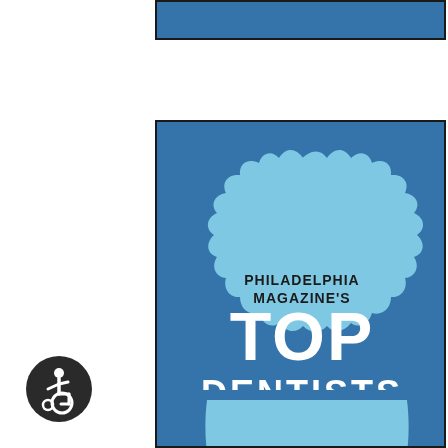[Figure (logo): Top partial strip of a Philadelphia Magazine Top Dentists 2020 badge award logo on a blue background with dark border]
[Figure (logo): Philadelphia Magazine's Top Dentists 2020 award badge. Blue square background with dark border containing a light blue scalloped circular badge. Text reads: PHILADELPHIA MAGAZINE'S TOP DENTISTS 2020]
[Figure (logo): Bottom partial view of another Philadelphia Magazine Top Dentists badge on a blue background with dark border]
[Figure (other): Accessibility icon: white wheelchair symbol on dark circular background, positioned at bottom left]